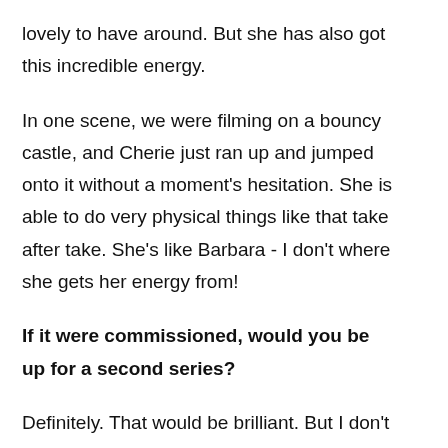lovely to have around. But she has also got this incredible energy.
In one scene, we were filming on a bouncy castle, and Cherie just ran up and jumped onto it without a moment's hesitation. She is able to do very physical things like that take after take. She's like Barbara - I don't where she gets her energy from!
If it were commissioned, would you be up for a second series?
Definitely. That would be brilliant. But I don't know if I would want to take Jim to new places. I'm quite happy with him being the idiot that he is. I had a whale of a